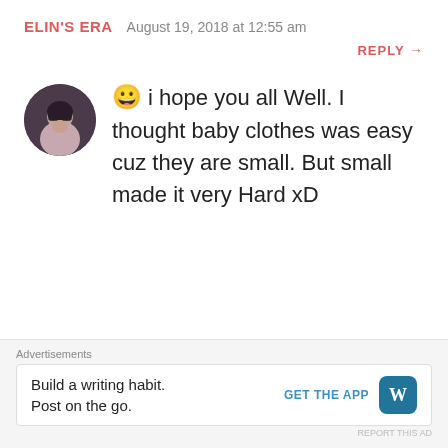ELIN'S ERA   August 19, 2018 at 12:55 am
REPLY →
😀 i hope you all Well. I thought baby clothes was easy cuz they are small. But small made it very Hard xD
★ Like
JENNI   August 19, 2018 at 2:50
Advertisements
Build a writing habit. Post on the go.
GET THE APP